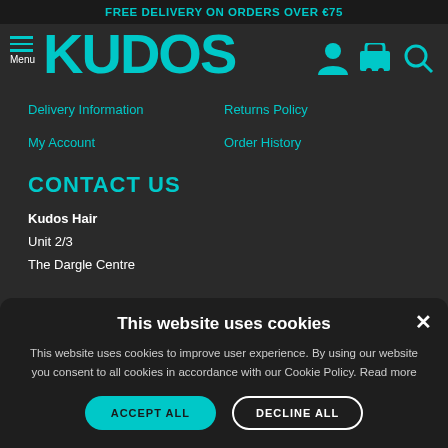FREE DELIVERY ON ORDERS OVER €75
[Figure (logo): Kudos Hair logo with hamburger menu icon and navigation icons (user, cart, search) in teal on dark background]
Delivery Information
Returns Policy
My Account
Order History
CONTACT US
Kudos Hair
Unit 2/3
The Dargle Centre
This website uses cookies
This website uses cookies to improve user experience. By using our website you consent to all cookies in accordance with our Cookie Policy. Read more
ACCEPT ALL | DECLINE ALL